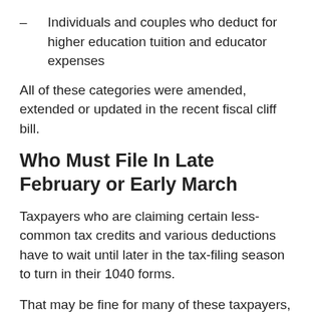– Individuals and couples who deduct for higher education tuition and educator expenses
All of these categories were amended, extended or updated in the recent fiscal cliff bill.
Who Must File In Late February or Early March
Taxpayers who are claiming certain less-common tax credits and various deductions have to wait until later in the tax-filing season to turn in their 1040 forms.
That may be fine for many of these taxpayers, since the bulk of them usually have more complex returns and thus tend to file closer to the April 15th deadline anyway. Some even get six-month extensions to file their tax returns on or before October 15th.